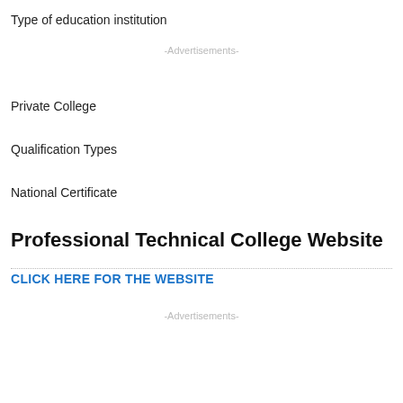Type of education institution
-Advertisements-
Private College
Qualification Types
National Certificate
Professional Technical College Website
CLICK HERE FOR THE WEBSITE
-Advertisements-